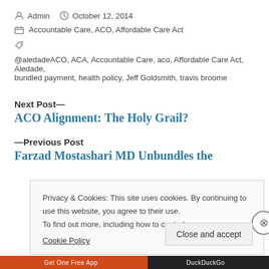Admin  October 12, 2014
Accountable Care, ACO, Affordable Care Act
@aledadeACO, ACA, Accountable Care, aco, Affordable Care Act, Aledade, bundled payment, health policy, Jeff Goldsmith, travis broome
Next Post—
ACO Alignment: The Holy Grail?
—Previous Post
Farzad Mostashari MD Unbundles the
Privacy & Cookies: This site uses cookies. By continuing to use this website, you agree to their use. To find out more, including how to control Cookie Policy
Close and accept